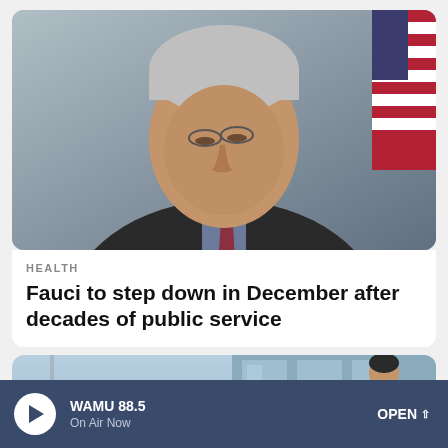[Figure (photo): Close-up photo of Dr. Anthony Fauci in a dark suit with a burgundy tie, wearing glasses, looking downward, with an American flag partially visible in the background]
HEALTH
Fauci to step down in December after decades of public service
[Figure (photo): Photo showing a person standing outside near a glass building, with a sign reading 'Monkeypox Vacc...' partially visible in the foreground]
WAMU 88.5 On Air Now OPEN ^